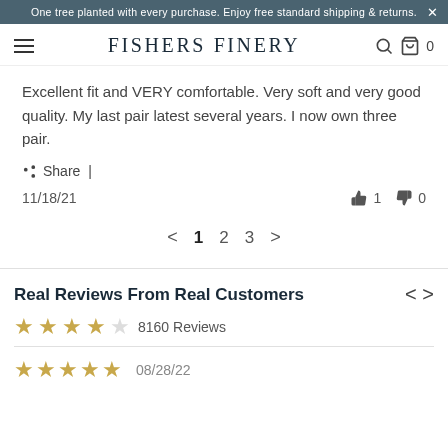One tree planted with every purchase. Enjoy free standard shipping & returns.
FISHERS FINERY
Excellent fit and VERY comfortable. Very soft and very good quality. My last pair latest several years. I now own three pair.
Share |
11/18/21  👍 1  👎 0
< 1 2 3 >
Real Reviews From Real Customers
8160 Reviews
08/28/22